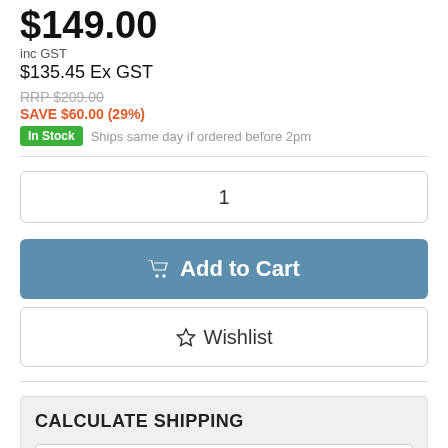$149.00
inc GST
$135.45 Ex GST
RRP $209.00
SAVE $60.00 (29%)
In Stock  Ships same day if ordered before 2pm
1
Add to Cart
Wishlist
CALCULATE SHIPPING
Qty
Australia